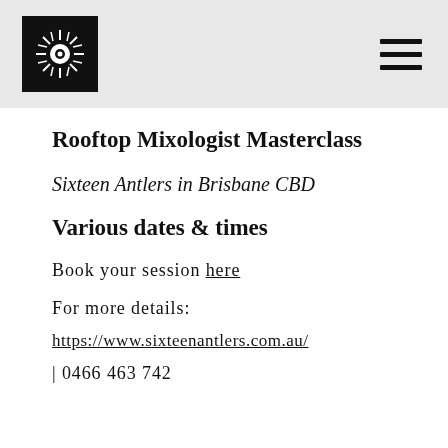Sixteen Antlers logo and navigation
Rooftop Mixologist Masterclass
Sixteen Antlers in Brisbane CBD
Various dates & times
Book your session here
For more details:
https://www.sixteenantlers.com.au/
| 0466 463 742